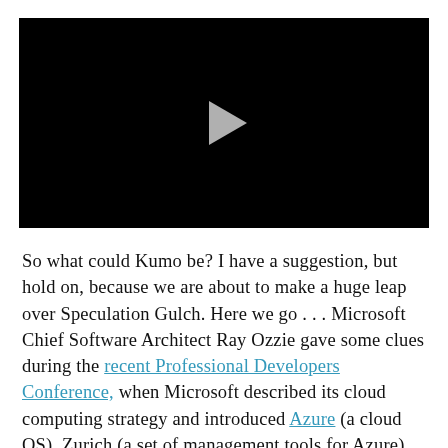[Figure (other): Black video player thumbnail with a gray play button triangle in the center]
So what could Kumo be? I have a suggestion, but hold on, because we are about to make a huge leap over Speculation Gulch. Here we go . . . Microsoft Chief Software Architect Ray Ozzie gave some clues during the recent Professional Developers Conference, when Microsoft described its cloud computing strategy and introduced Azure (a cloud OS), Zurich (a set of management tools for Azure), LiveMesh (online file sync) and Office Web